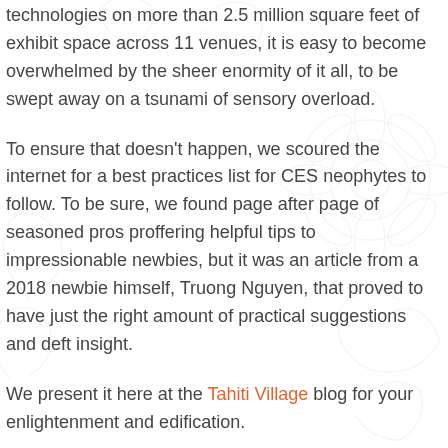technologies on more than 2.5 million square feet of exhibit space across 11 venues, it is easy to become overwhelmed by the sheer enormity of it all, to be swept away on a tsunami of sensory overload.
To ensure that doesn't happen, we scoured the internet for a best practices list for CES neophytes to follow. To be sure, we found page after page of seasoned pros proffering helpful tips to impressionable newbies, but it was an article from a 2018 newbie himself, Truong Nguyen, that proved to have just the right amount of practical suggestions and deft insight.
We present it here at the Tahiti Village blog for your enlightenment and edification.